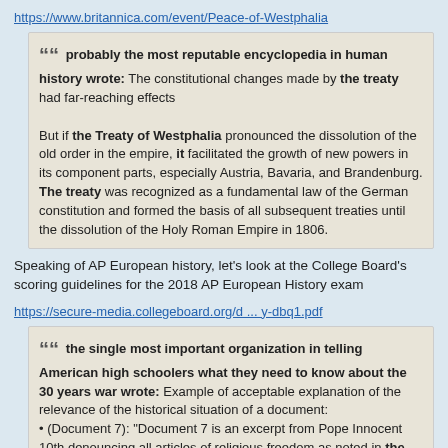https://www.britannica.com/event/Peace-of-Westphalia
probably the most reputable encyclopedia in human history wrote: The constitutional changes made by the treaty had far-reaching effects

But if the Treaty of Westphalia pronounced the dissolution of the old order in the empire, it facilitated the growth of new powers in its component parts, especially Austria, Bavaria, and Brandenburg. The treaty was recognized as a fundamental law of the German constitution and formed the basis of all subsequent treaties until the dissolution of the Holy Roman Empire in 1806.
Speaking of AP European history, let's look at the College Board's scoring guidelines for the 2018 AP European History exam
https://secure-media.collegeboard.org/d ... y-dbq1.pdf
the single most important organization in telling American high schoolers what they need to know about the 30 years war wrote: Example of acceptable explanation of the relevance of the historical situation of a document:
• (Document 7): "Document 7 is an excerpt from Pope Innocent 10th denouncing all articles of religious freedom as noted in the Treaty of Westphalia.